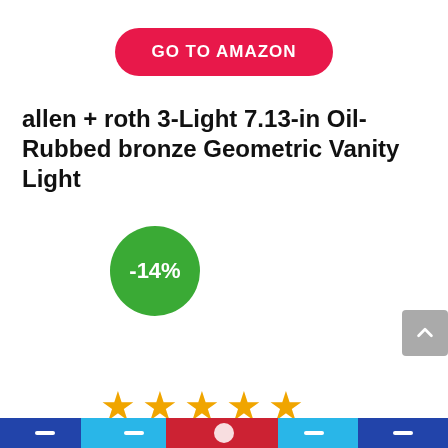[Figure (other): GO TO AMAZON red pill-shaped button]
allen + roth 3-Light 7.13-in Oil-Rubbed bronze Geometric Vanity Light
[Figure (infographic): Green circle badge showing -14% discount]
[Figure (infographic): Five gold star rating]
[Figure (other): Bottom navigation bar with icons]